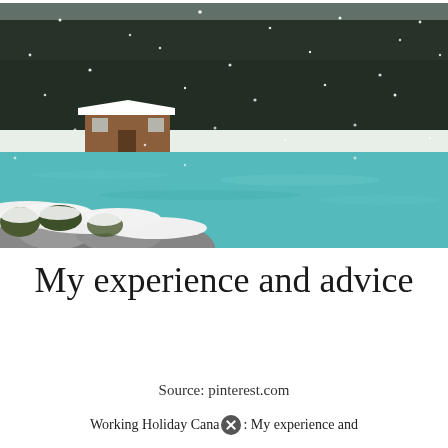[Figure (photo): Winter landscape photo showing a turquoise-blue lake with snow-covered rocks and shrubs in the foreground, a wooden cabin or boathouse on the far shore, and dense snow-covered evergreen forest in the background with falling snow]
My experience and advice
Source: pinterest.com
Working Holiday Canada: My experience and